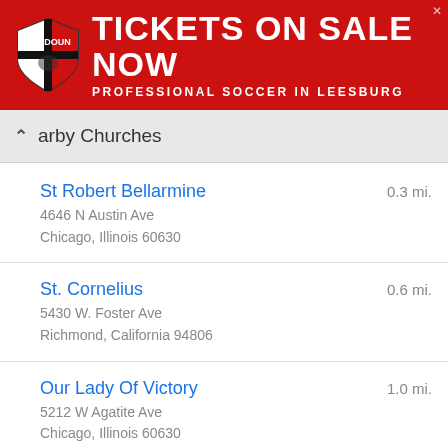[Figure (illustration): Red advertisement banner for Loudoun soccer tickets. Shows shield logo on left, large white bold text 'TICKETS ON SALE NOW' and subtitle 'PROFESSIONAL SOCCER IN LEESBURG']
Nearby Churches
St Robert Bellarmine
4646 N Austin Ave
Chicago, Illinois 60630
0.3 mi.
St. Cornelius
5430 W. Foster Ave
Richmond, California 94806
0.6 mi.
Our Lady Of Victory
5212 W Agatite Ave
Chicago, Illinois 60630
1.0 mi.
St. Elizabeth of the Trinity Parish
1.1 mi.